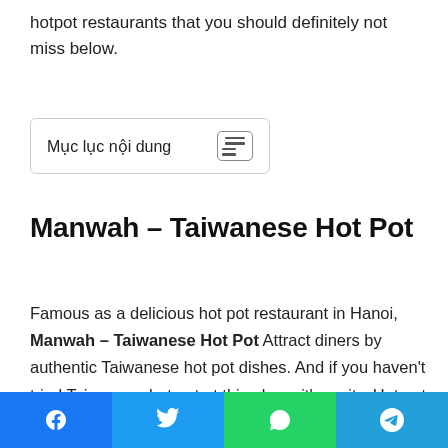hotpot restaurants that you should definitely not miss below.
[Figure (other): Table of contents widget labeled 'Mục lục nội dung' with a list/menu icon button]
Manwah – Taiwanese Hot Pot
Famous as a delicious hot pot restaurant in Hanoi, Manwah – Taiwanese Hot Pot Attract diners by authentic Taiwanese hot pot dishes. And if you haven't tried Taiwanese hot pot at this place, it's a pity. Hot pot dishes are made with fresh ingredients at reasonable prices. The hot pot broth is stewed from bones extremely rich. As soon as you eat, you will feel the delicious taste right on the tip of your tongue. The hot pot broth that is stewed from the bones is extremely delicious. Looking at the
Facebook | Twitter | WhatsApp | Telegram share buttons